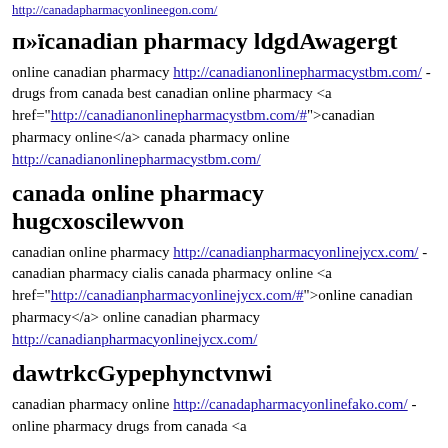http://canadapharmacyonlineegon.com/
п»їcanadian pharmacy ldgdAwagergt
online canadian pharmacy http://canadianonlinepharmacystbm.com/ - drugs from canada best canadian online pharmacy <a href="http://canadianonlinepharmacystbm.com/#">canadian pharmacy online</a> canada pharmacy online http://canadianonlinepharmacystbm.com/
canada online pharmacy hugcxoscilewvon
canadian online pharmacy http://canadianpharmacyonlinejycx.com/ - canadian pharmacy cialis canada pharmacy online <a href="http://canadianpharmacyonlinejycx.com/#">online canadian pharmacy</a> online canadian pharmacy http://canadianpharmacyonlinejycx.com/
dawtrkcGypephynctvnwi
canadian pharmacy online http://canadapharmacyonlinefako.com/ - online pharmacy drugs from canada <a a